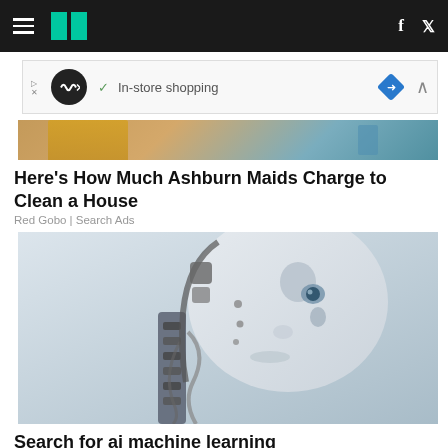HuffPost navigation bar with hamburger menu, logo, Facebook and Twitter icons
[Figure (screenshot): Ad banner: infinity loop logo, checkmark, In-store shopping text, blue navigation diamond icon]
[Figure (photo): Partial photo showing persons arm in yellow sleeve, cleaning context]
Here's How Much Ashburn Maids Charge to Clean a House
Red Gobo | Search Ads
[Figure (photo): Close-up photo of a humanoid robot face and mechanical neck structure against light grey background]
Search for ai machine learning
Yahoo Search